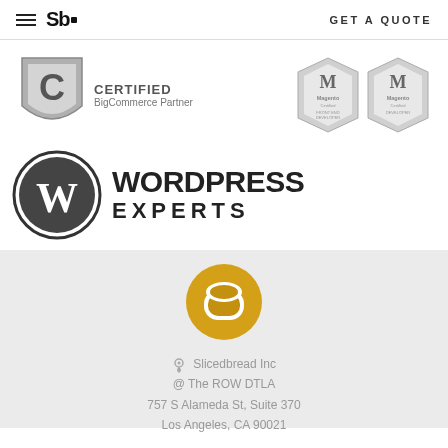Sb. GET A QUOTE
[Figure (logo): BigCommerce Certified Partner shield badge with 'C' logo, text 'CERTIFIED BigCommerce Partner']
[Figure (logo): Two Magento Certified badges: Front End Developer and Developer]
[Figure (logo): WordPress Experts logo with W circle icon and text WORDPRESS EXPERTS]
[Figure (logo): Slicedbread Inc golden bread/toast logo circle icon]
Slicedbread Inc @ The ROW DTLA 757 S Alameda St, Suite 370 Los Angeles, CA 90021